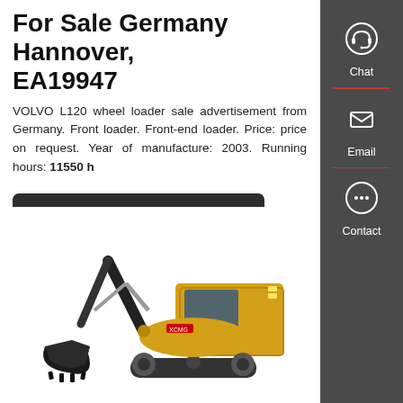For Sale Germany Hannover, EA19947
VOLVO L120 wheel loader sale advertisement from Germany. Front loader. Front-end loader. Price: price on request. Year of manufacture: 2003. Running hours: 11550 h
Get a Quote
[Figure (photo): Yellow XCMG mini excavator with black bucket and arm, white background]
[Figure (infographic): Right sidebar with Chat, Email, and Contact icons on dark grey background with red dividers]